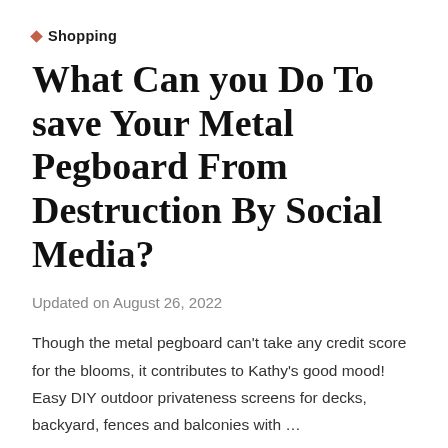Shopping
What Can you Do To save Your Metal Pegboard From Destruction By Social Media?
Updated on August 26, 2022
Though the metal pegboard can't take any credit score for the blooms, it contributes to Kathy's good mood! Easy DIY outdoor privateness screens for decks, backyard, fences and balconies with …